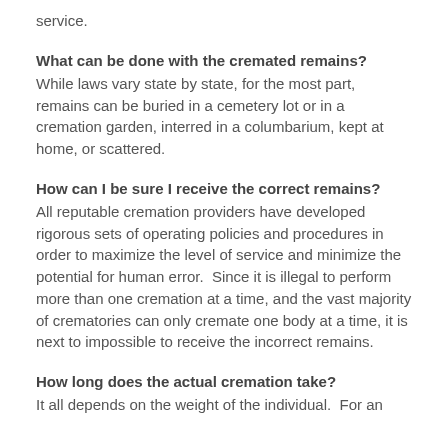service.
What can be done with the cremated remains?
While laws vary state by state, for the most part, remains can be buried in a cemetery lot or in a cremation garden, interred in a columbarium, kept at home, or scattered.
How can I be sure I receive the correct remains?
All reputable cremation providers have developed rigorous sets of operating policies and procedures in order to maximize the level of service and minimize the potential for human error.  Since it is illegal to perform more than one cremation at a time, and the vast majority of crematories can only cremate one body at a time, it is next to impossible to receive the incorrect remains.
How long does the actual cremation take?
It all depends on the weight of the individual.  For an